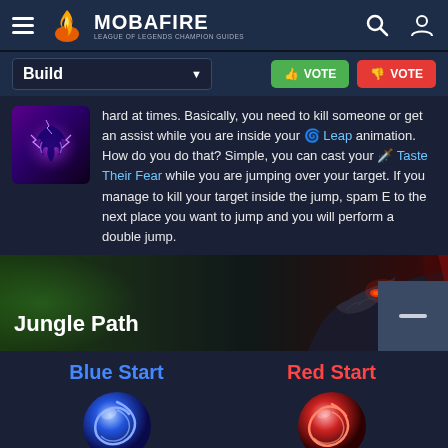MOBAFIRE — LEAGUE OF LEGENDS CHAMPION GUIDES
Build
VOTE (up) | VOTE (down)
hard at times. Basically, you need to kill someone or get an assist while you are inside your Leap animation. How do you do that? Simple, you can cast your Taste Their Fear while you are jumping over your target. If you manage to kill your target inside the jump, spam E to the next place you want to jump and you will perform a double jump.
Jungle Path
Blue Start
Red Start